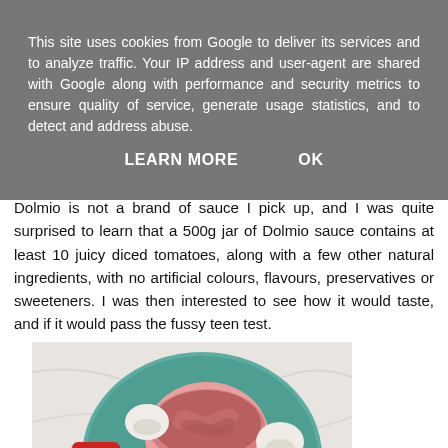This site uses cookies from Google to deliver its services and to analyze traffic. Your IP address and user-agent are shared with Google along with performance and security metrics to ensure quality of service, generate usage statistics, and to detect and address abuse.
LEARN MORE   OK
Dolmio is not a brand of sauce I pick up, and I was quite surprised to learn that a 500g jar of Dolmio sauce contains at least 10 juicy diced tomatoes, along with a few other natural ingredients, with no artificial colours, flavours, preservatives or sweeteners. I was then interested to see how it would taste, and if it would pass the fussy teen test.
[Figure (photo): Overhead photo on marble surface: a teal plate with a pink bowl of ground/minced meat, surrounded by mushrooms, an onion, a small dark square, and a jar of Dolmio sauce on the left.]